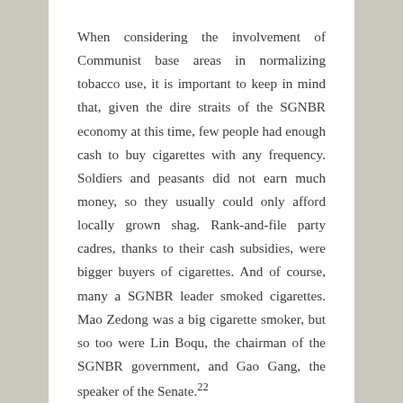When considering the involvement of Communist base areas in normalizing tobacco use, it is important to keep in mind that, given the dire straits of the SGNBR economy at this time, few people had enough cash to buy cigarettes with any frequency. Soldiers and peasants did not earn much money, so they usually could only afford locally grown shag. Rank-and-file party cadres, thanks to their cash subsidies, were bigger buyers of cigarettes. And of course, many a SGNBR leader smoked cigarettes. Mao Zedong was a big cigarette smoker, but so too were Lin Boqu, the chairman of the SGNBR government, and Gao Gang, the speaker of the Senate.22